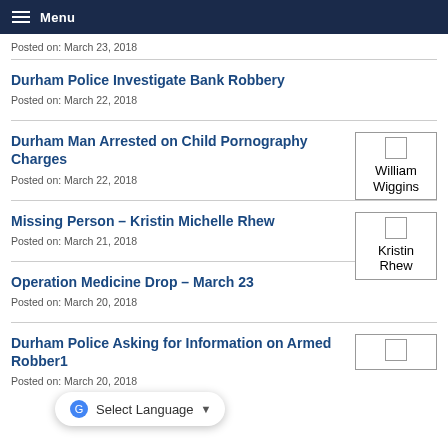Menu
Posted on: March 23, 2018
Durham Police Investigate Bank Robbery
Posted on: March 22, 2018
Durham Man Arrested on Child Pornography Charges
Posted on: March 22, 2018
[Figure (photo): Thumbnail photo of William Wiggins]
Missing Person – Kristin Michelle Rhew
Posted on: March 21, 2018
[Figure (photo): Thumbnail photo of Kristin Rhew]
Operation Medicine Drop – March 23
Posted on: March 20, 2018
Durham Police Asking for Information on Armed Robbe...r1
Posted on: March 20, 2018